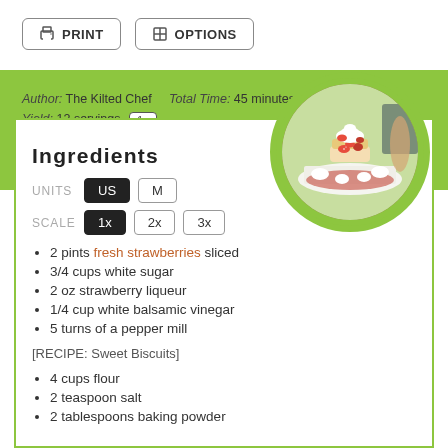PRINT  OPTIONS
Author: The Kilted Chef   Total Time: 45 minutes   Yield: 12 servings  1x
[Figure (photo): Circular photo of a strawberry shortcake dessert with whipped cream on a white plate, viewed from above outdoors]
Ingredients
UNITS  US  M
SCALE  1x  2x  3x
2 pints fresh strawberries sliced
3/4 cups white sugar
2 oz strawberry liqueur
1/4 cup white balsamic vinegar
5 turns of a pepper mill
[RECIPE: Sweet Biscuits]
4 cups flour
2 teaspoon salt
2 tablespoons baking powder